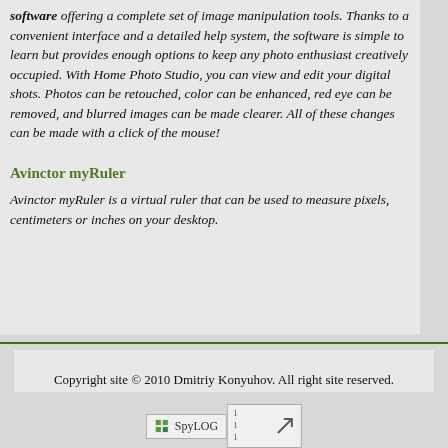software offering a complete set of image manipulation tools. Thanks to a convenient interface and a detailed help system, the software is simple to learn but provides enough options to keep any photo enthusiast creatively occupied. With Home Photo Studio, you can view and edit your digital shots. Photos can be retouched, color can be enhanced, red eye can be removed, and blurred images can be made clearer. All of these changes can be made with a click of the mouse!
Avinctor myRuler
Avinctor myRuler is a virtual ruler that can be used to measure pixels, centimeters or inches on your desktop.
Copyright site © 2010 Dmitriy Konyuhov. All right site reserved.